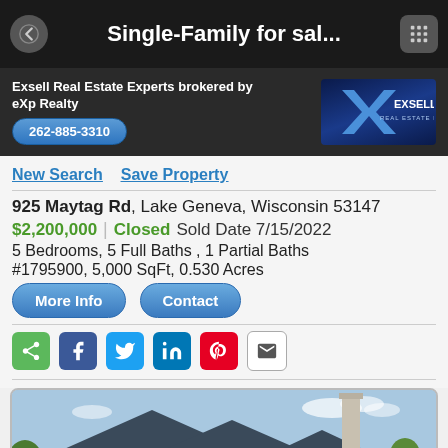Single-Family for sal...
Exsell Real Estate Experts brokered by eXp Realty
262-885-3310
New Search   Save Property
925 Maytag Rd, Lake Geneva, Wisconsin 53147
$2,200,000 | Closed Sold Date 7/15/2022
5 Bedrooms, 5 Full Baths , 1 Partial Baths
#1795900, 5,000 SqFt, 0.530 Acres
More Info   Contact
[Figure (screenshot): Social share icons: share, Facebook, Twitter, LinkedIn, Pinterest, email]
[Figure (photo): Exterior photo of a large single-family home with dark grey roofs, stone/beige facade, and a tall chimney against a blue sky]